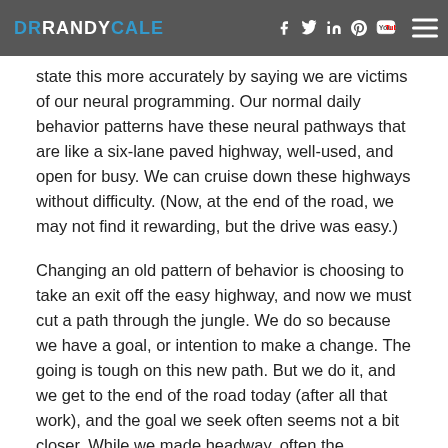DR RANDY CALE — navigation bar with social icons
state this more accurately by saying we are victims of our neural programming. Our normal daily behavior patterns have these neural pathways that are like a six-lane paved highway, well-used, and open for busy. We can cruise down these highways without difficulty. (Now, at the end of the road, we may not find it rewarding, but the drive was easy.)
Changing an old pattern of behavior is choosing to take an exit off the easy highway, and now we must cut a path through the jungle. We do so because we have a goal, or intention to make a change. The going is tough on this new path. But we do it, and we get to the end of the road today (after all that work), and the goal we seek often seems not a bit closer. While we made headway, often the important goals remain a distant vision after all that work. Thus tomorrow, it makes it easy to simply stay on the familiar, well-worn highway rather than sticking to